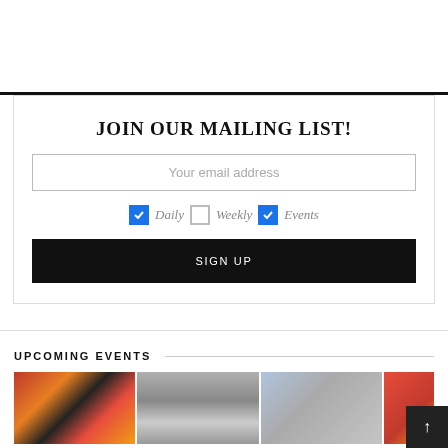JOIN OUR MAILING LIST!
Your email address
Daily (checked), Weekly (unchecked), Events (checked)
SIGN UP
UPCOMING EVENTS
[Figure (photo): Three event photos in a horizontal row at the bottom of the page]